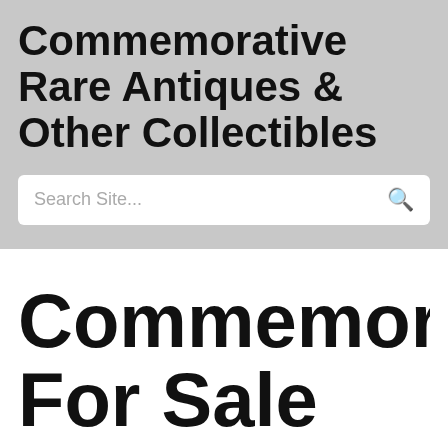Commemorative Rare Antiques & Other Collectibles
Search Site...
Commemorat For Sale